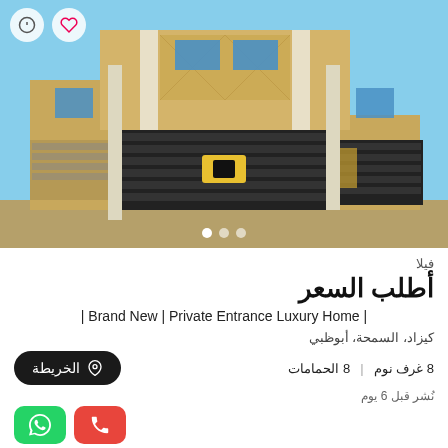[Figure (photo): Exterior photo of a two-storey luxury villa with ornate facade, large black metal gate, sand-colored walls and decorative patterns. Clear blue sky background.]
فيلا
أطلب السعر
| Brand New | Private Entrance Luxury Home |
كيزاد، السمحة، أبوظبي
8 غرف نوم | 8 الحمامات
نُشر قبل 6 يوم